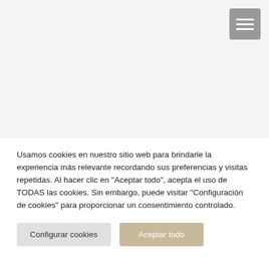[Figure (screenshot): Top area of a webpage with a light gray background and a hamburger menu icon (three horizontal lines) in the top-right corner on a gray rounded square button.]
Usamos cookies en nuestro sitio web para brindarle la experiencia más relevante recordando sus preferencias y visitas repetidas. Al hacer clic en "Aceptar todo", acepta el uso de TODAS las cookies. Sin embargo, puede visitar "Configuración de cookies" para proporcionar un consentimiento controlado.
Configurar cookies
Aceptar todo